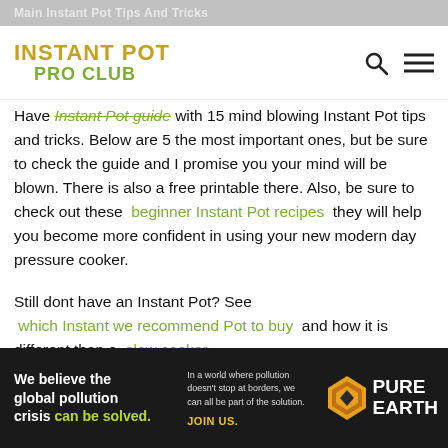INSTANT POT PRO CLUB
Have Instant Pot guide with 15 mind blowing Instant Pot tips and tricks. Below are 5 the most important ones, but be sure to check the guide and I promise you your mind will be blown. There is also a free printable there. Also, be sure to check out these beginner Instant Pot recipes they will help you become more confident in using your new modern day pressure cooker.
Still dont have an Instant Pot? See which Instant we recommend Pot to buy and how it is different than a slow cooker.
[Figure (infographic): Pure Earth advertisement banner. Dark background. Left: 'We believe the global pollution crisis can be solved.' Middle: 'In a world where pollution doesn't stop at borders, we can all be part of the solution. JOIN US.' Right: Pure Earth logo with diamond/triangle icon.]